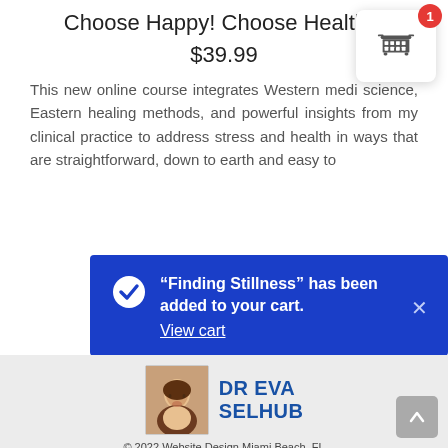Choose Happy! Choose Healthy!
$39.99
This new online course integrates Western medi science, Eastern healing methods, and powerful insights from my clinical practice to address stress and health in ways that are straightforward, down to earth and easy to
[Figure (screenshot): Shopping cart icon widget with red badge showing count 1, white rounded box with shadow]
“Finding Stillness” has been added to your cart. View cart
[Figure (photo): Profile photo of Dr Eva Selhub, a woman with dark hair smiling]
DR EVA SELHUB
© 2022 Website Design Miami Beach, FL
href="https://www.yakadanda.com/" target="_blank">Yakadanda